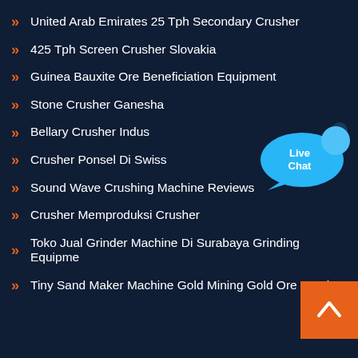United Arab Emirates 25 Tph Secondary Crusher
425 Tph Screen Crusher Slovakia
Guinea Bauxite Ore Beneficiation Equipment
Stone Crusher Ganesha
Bellary Crusher Indus
Crusher Ponsel Di Swiss
Sound Wave Crushing Machine Reviews
Crusher Memproduksi Crusher
Toko Jual Grinder Machine Di Surabaya Grinding Equipme
Tiny Sand Maker Machine Gold Mining Gold Ore Crusher
[Figure (illustration): Live Chat speech bubble icon in blue with text 'Live Chat' in white, and a small x close button in the top right corner]
[Figure (illustration): Back to top orange square button with a white upward-pointing chevron arrow]